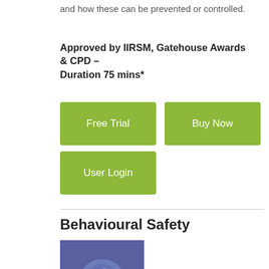and how these can be prevented or controlled.
Approved by IIRSM, Gatehouse Awards & CPD – Duration 75 mins*
[Figure (other): Three green buttons: Free Trial, Buy Now, User Login]
Behavioural Safety
[Figure (illustration): Purple/blue icon with a white thumbs-up hand shielded by a hand holding shape, representing behavioural safety.]